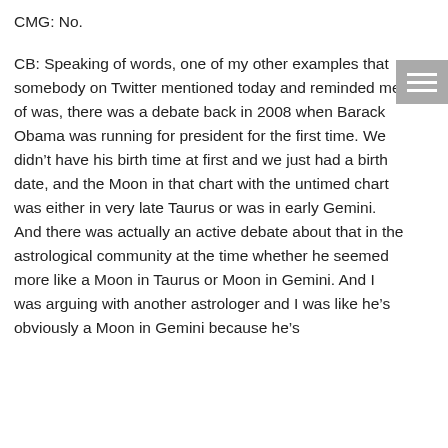CMG: No.
CB: Speaking of words, one of my other examples that somebody on Twitter mentioned today and reminded me of was, there was a debate back in 2008 when Barack Obama was running for president for the first time. We didn’t have his birth time at first and we just had a birth date, and the Moon in that chart with the untimed chart was either in very late Taurus or was in early Gemini. And there was actually an active debate about that in the astrological community at the time whether he seemed more like a Moon in Taurus or Moon in Gemini. And I was arguing with another astrologer and I was like he’s obviously a Moon in Gemini because he’s